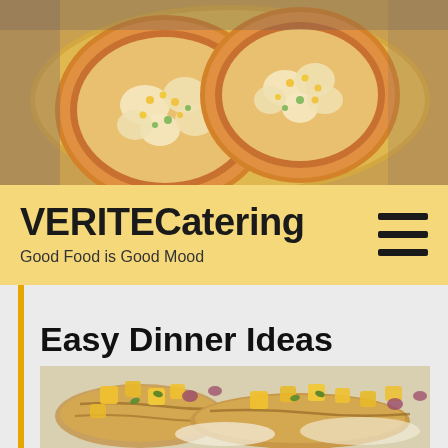[Figure (photo): Close-up photo of mini pizzas with cheese, corn, and vegetables on a wooden cutting board]
VERITECatering
Good Food is Good Mood
[Figure (illustration): Hamburger menu icon with three horizontal lines]
Easy Dinner Ideas
[Figure (photo): Grilled chicken with mango salsa topping, garnished with herbs and red onion]